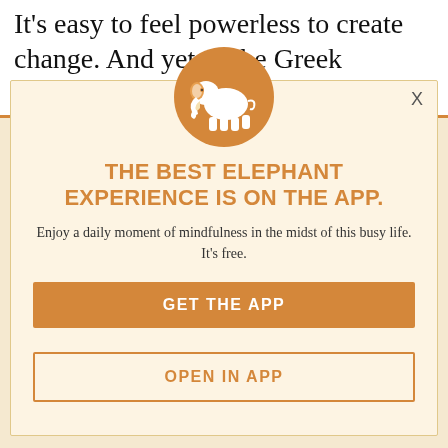It's easy to feel powerless to create change. And yet as the Greek philosopher Heraclitus
stated:
[Figure (logo): Orange circle with white elephant silhouette icon]
THE BEST ELEPHANT EXPERIENCE IS ON THE APP.
Enjoy a daily moment of mindfulness in the midst of this busy life. It's free.
GET THE APP
OPEN IN APP